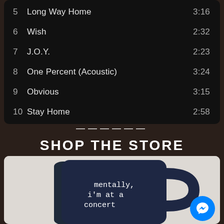5  Long Way Home  3:16
6  Wish  2:32
7  J.O.Y.  2:23
8  One Percent (Acoustic)  3:24
9  Obvious  3:15
10  Stay Home  2:58
—————
SHOP THE STORE
[Figure (photo): A dark navy blue coffee mug with white text reading 'mentally, i'm at a concert' on a light grey background]